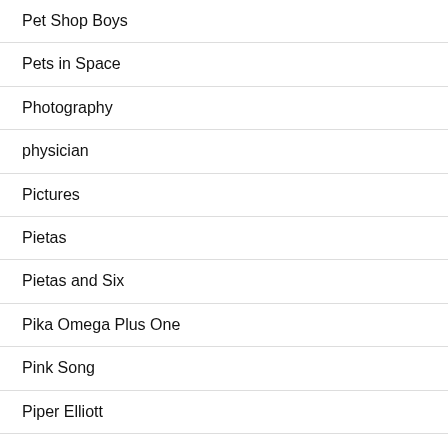Pet Shop Boys
Pets in Space
Photography
physician
Pictures
Pietas
Pietas and Six
Pika Omega Plus One
Pink Song
Piper Elliott
Playlist
plot
PNR
poems